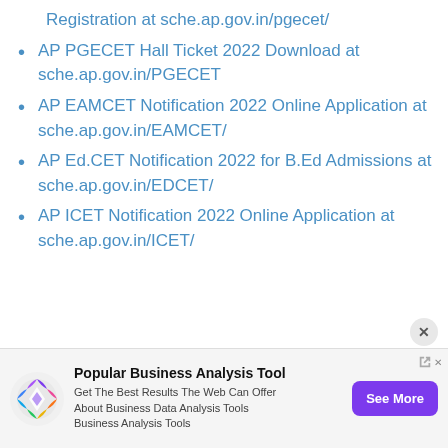Registration at sche.ap.gov.in/pgecet/
AP PGECET Hall Ticket 2022 Download at sche.ap.gov.in/PGECET
AP EAMCET Notification 2022 Online Application at sche.ap.gov.in/EAMCET/
AP Ed.CET Notification 2022 for B.Ed Admissions at sche.ap.gov.in/EDCET/
AP ICET Notification 2022 Online Application at sche.ap.gov.in/ICET/
[Figure (infographic): Advertisement banner for Popular Business Analysis Tool with colorful logo, bold title, short description, and purple 'See More' button]